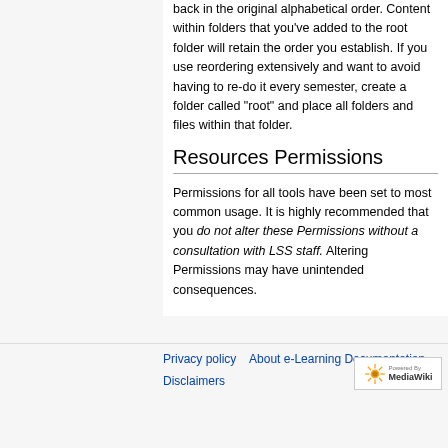back in the original alphabetical order. Content within folders that you've added to the root folder will retain the order you establish. If you use reordering extensively and want to avoid having to re-do it every semester, create a folder called "root" and place all folders and files within that folder.
Resources Permissions
Permissions for all tools have been set to most common usage. It is highly recommended that you do not alter these Permissions without a consultation with LSS staff. Altering Permissions may have unintended consequences.
Privacy policy   About e-Learning Documentation   Disclaimers
[Figure (logo): Powered by MediaWiki logo badge with sunflower icon]